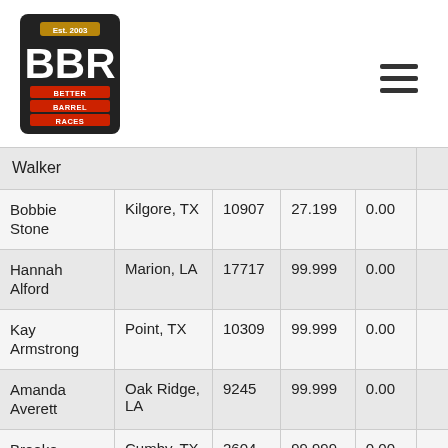[Figure (logo): BBR Better Barrel Races logo, established 2003, dark background with red and yellow text]
| Name | Location | ID | Time | Amount |  |
| --- | --- | --- | --- | --- | --- |
| Walker |  |  |  |  |  |
| Bobbie Stone | Kilgore, TX | 10907 | 27.199 | 0.00 |  |
| Hannah Alford | Marion, LA | 17717 | 99.999 | 0.00 |  |
| Kay Armstrong | Point, TX | 10309 | 99.999 | 0.00 |  |
| Amanda Averett | Oak Ridge, LA | 9245 | 99.999 | 0.00 |  |
| Brooke Bailey | Cumby, TX | 2604 | 99.999 | 0.00 |  |